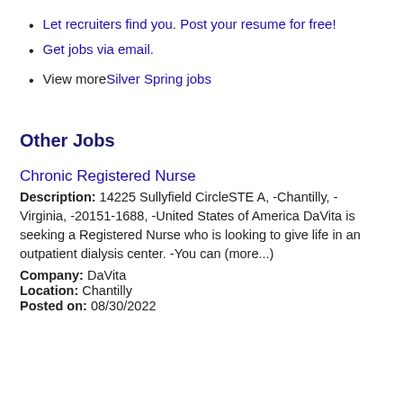Let recruiters find you. Post your resume for free!
Get jobs via email.
View more Silver Spring jobs
Other Jobs
Chronic Registered Nurse
Description: 14225 Sullyfield CircleSTE A, -Chantilly, -Virginia, -20151-1688, -United States of America DaVita is seeking a Registered Nurse who is looking to give life in an outpatient dialysis center. -You can (more...)
Company: DaVita
Location: Chantilly
Posted on: 08/30/2022